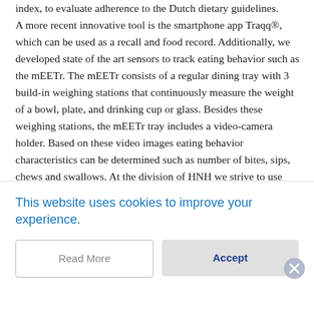index, to evaluate adherence to the Dutch dietary guidelines. A more recent innovative tool is the smartphone app Traqq®, which can be used as a recall and food record. Additionally, we developed state of the art sensors to track eating behavior such as the mEETr. The mEETr consists of a regular dining tray with 3 build-in weighing stations that continuously measure the weight of a bowl, plate, and drinking cup or glass. Besides these weighing stations, the mEETr tray includes a video-camera holder. Based on these video images eating behavior characteristics can be determined such as number of bites, sips, chews and swallows. At the division of HNH we strive to use nutrition to make people healthier and happier, and we will continue to
This website uses cookies to improve your experience.
Read More
Accept